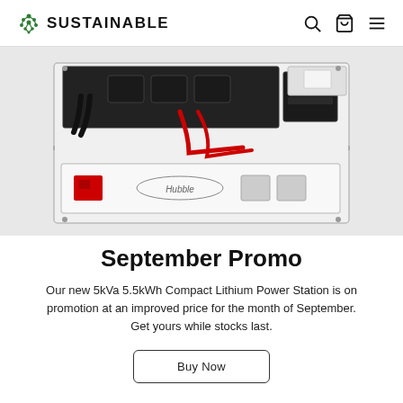SUSTAINABLE
[Figure (photo): A 5kVa 5.5kWh Compact Lithium Power Station showing internal components including inverter unit, battery module with Hubble branding, red and black cables, and mounting rack from an angled top-down view on a white background.]
September Promo
Our new 5kVa 5.5kWh Compact Lithium Power Station is on promotion at an improved price for the month of September. Get yours while stocks last.
Buy Now